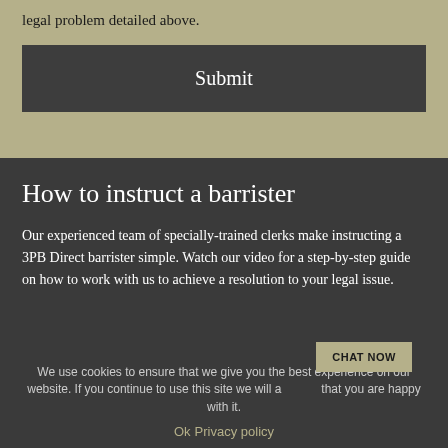legal problem detailed above.
Submit
How to instruct a barrister
Our experienced team of specially-trained clerks make instructing a 3PB Direct barrister simple. Watch our video for a step-by-step guide on how to work with us to achieve a resolution to your legal issue.
We use cookies to ensure that we give you the best experience on our website. If you continue to use this site we will assume that you are happy with it.
Ok   Privacy policy
CHAT NOW